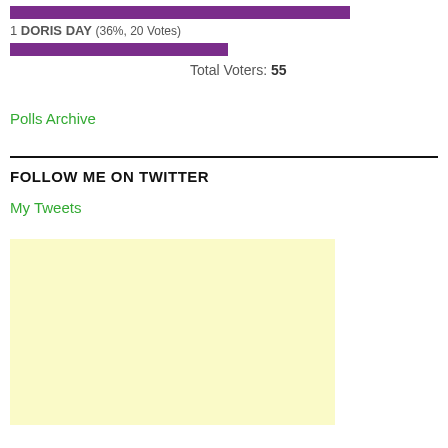[Figure (bar-chart): Poll results]
1 DORIS DAY (36%, 20 Votes)
Total Voters: 55
Polls Archive
FOLLOW ME ON TWITTER
My Tweets
[Figure (other): Light yellow advertisement block placeholder]